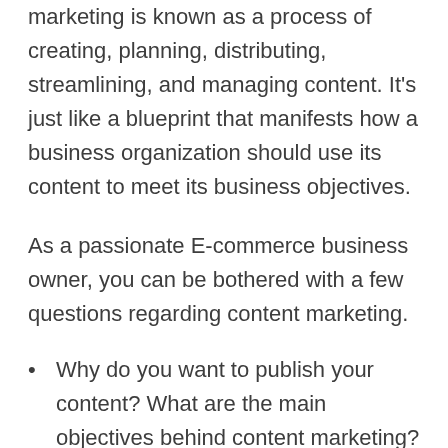marketing is known as a process of creating, planning, distributing, streamlining, and managing content. It’s just like a blueprint that manifests how a business organization should use its content to meet its business objectives.
As a passionate E-commerce business owner, you can be bothered with a few questions regarding content marketing.
Why do you want to publish your content? What are the main objectives behind content marketing?
What are the leading platforms to publish your content?
Your target audience